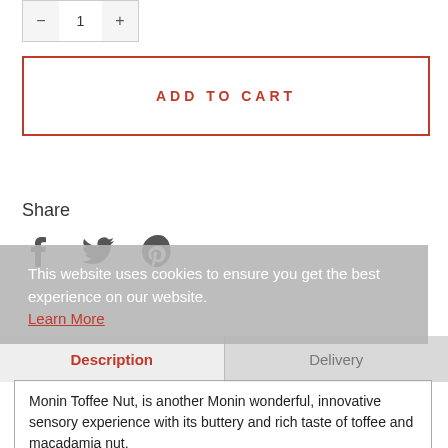[Figure (screenshot): Quantity selector box with minus, 1, plus controls]
ADD TO CART
Share
[Figure (screenshot): Social share icons: Facebook, Twitter, Pinterest]
This website uses cookies to ensure you get the best experience on our website.
Learn More
Description
Delivery
Monin Toffee Nut, is another Monin wonderful, innovative sensory experience with its buttery and rich taste of toffee and macadamia nut.